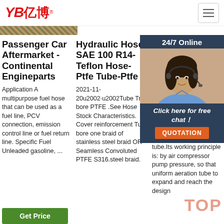[Figure (logo): YB亿博 company logo in red italic text with registered trademark symbol]
Passenger Car Aftermarket - Continental Engineparts
Application A multipurpose fuel hose that can be used as a fuel line, PCV connection, emission control line or fuel return line. Specific Fuel Unleaded gasoline, ...
Hydraulic Hose SAE 100 R14-Teflon Hose-Ptfe Tube-Ptfe
2021-11-20u2002·u2002Tube True bore PTFE .See Hose Stock Characteristics. Cover reinforcement Ture bore one braid of stainless steel braid OR Seamless Convoluted PTFE S316.steel braid. Temperature Ra...
Ae... - O...
202...4u2...mic...aer...mic...ma...ato...ran...type... tube.Its working principle is: by air compressor pump pressure, so that uniform aeration tube to expand and reach the design
[Figure (photo): Customer service representative woman wearing headset, smiling, with 24/7 Online chat overlay panel showing quotation button]